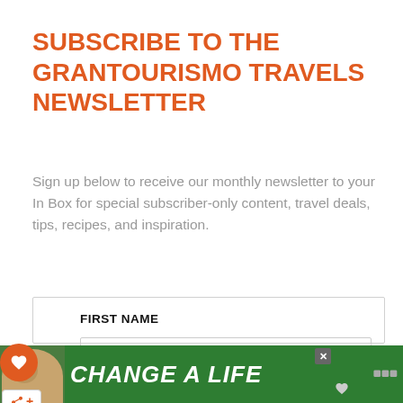SUBSCRIBE TO THE GRANTOURISMO TRAVELS NEWSLETTER
Sign up below to receive our monthly newsletter to your In Box for special subscriber-only content, travel deals, tips, recipes, and inspiration.
FIRST NAME
First Name
LAST NAME
[Figure (screenshot): Advertisement banner at bottom showing a dog and text 'CHANGE A LIFE']